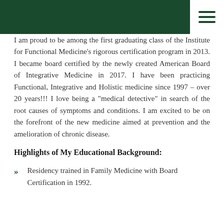[dark green header bar with hamburger menu icon]
imbalances and finding clues that can move us forward in our health goals.
I am proud to be among the first graduating class of the Institute for Functional Medicine's rigorous certification program in 2013. I became board certified by the newly created American Board of Integrative Medicine in 2017. I have been practicing Functional, Integrative and Holistic medicine since 1997 – over 20 years!!! I love being a "medical detective" in search of the root causes of symptoms and conditions. I am excited to be on the forefront of the new medicine aimed at prevention and the amelioration of chronic disease.
Highlights of My Educational Background:
Residency trained in Family Medicine with Board Certification in 1992.